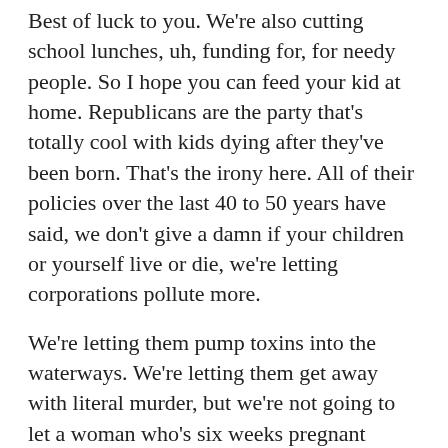Best of luck to you. We're also cutting school lunches, uh, funding for, for needy people. So I hope you can feed your kid at home. Republicans are the party that's totally cool with kids dying after they've been born. That's the irony here. All of their policies over the last 40 to 50 years have said, we don't give a damn if your children or yourself live or die, we're letting corporations pollute more.
We're letting them pump toxins into the waterways. We're letting them get away with literal murder, but we're not going to let a woman who's six weeks pregnant terminate that pregnancy if she was raped, if she wasn't prepared for it, if her birth control failed, nope. Oh, well, best of luck to you. Good luck with that. Six to $7,000 medical costs up to the birth because we're not helping you with that.